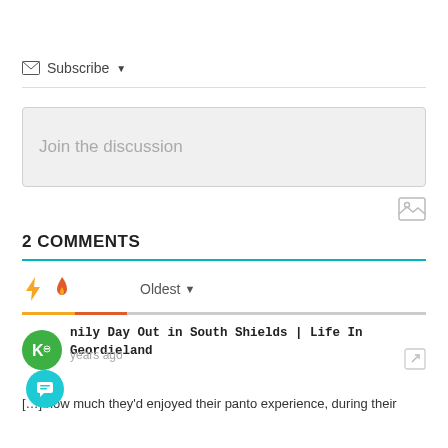✉ Subscribe ▾
[Figure (screenshot): Join the discussion text input box with light gray background]
[Figure (screenshot): Image upload icon (small square with mountain/photo symbol)]
2 COMMENTS
[Figure (infographic): Sort bar with lightning bolt icon (yellow), flame icon (orange-red), and Oldest dropdown selector, with colored underline]
[Figure (logo): Green circle avatar with K< icon]
nily Day Out in South Shields | Life In Geordieland
years ago
[…] how much they'd enjoyed their panto experience, during their